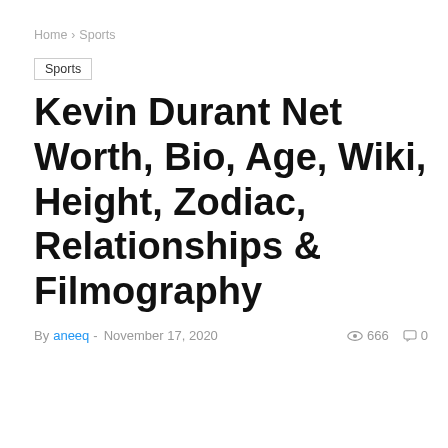Home › Sports
Sports
Kevin Durant Net Worth, Bio, Age, Wiki, Height, Zodiac, Relationships & Filmography
By aneeq - November 17, 2020  666  0